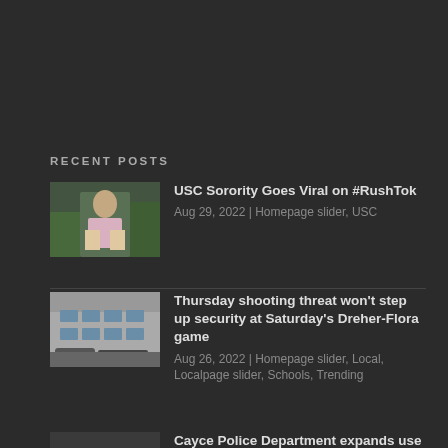RECENT POSTS
USC Sorority Goes Viral on #RushTok
Aug 29, 2022 | Homepage slider, USC
Thursday shooting threat won't step up security at Saturday's Dreher-Flora game
Aug 26, 2022 | Homepage slider, Local, Localpage slider, Schools, Trending
Cayce Police Department expands use of E-energy
Apr 25, 2022 | Local, Localpage slider
Darion McCloud: the storyteller who sows artistic magic
Apr 21, 2022 | Local